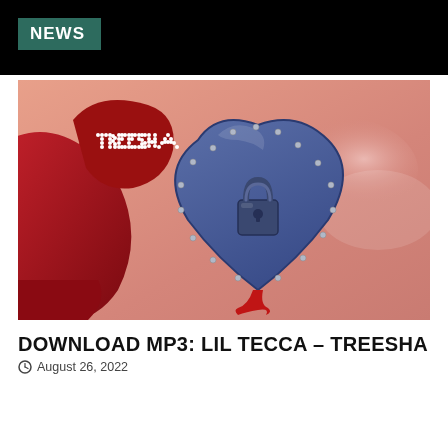NEWS
[Figure (illustration): Album art for Lil Tecca - Treesha: a dark blue heart-shaped locket with silver studs and a padlock, held by a red gloved hand with 'TREESHA' written in rhinestones, against a pink/orange cloudy background]
DOWNLOAD MP3: Lil Tecca – Treesha
August 26, 2022